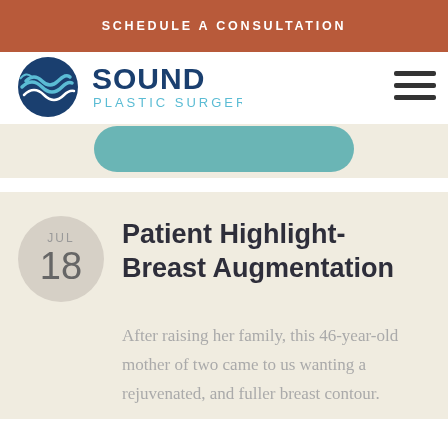SCHEDULE A CONSULTATION
[Figure (logo): Sound Plastic Surgery logo with wave/circle icon and text]
[Figure (other): Hamburger menu icon (three horizontal lines)]
[Figure (other): Teal rounded button partially visible]
Patient Highlight- Breast Augmentation
After raising her family, this 46-year-old mother of two came to us wanting a rejuvenated, and fuller breast contour.